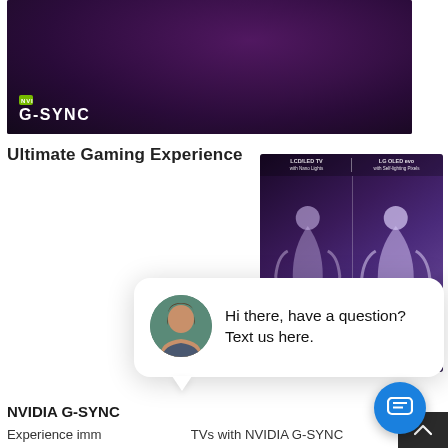[Figure (screenshot): NVIDIA G-SYNC branded hero image with dark purple/magenta gradient background and G-SYNC logo badge at bottom left]
Ultimate Gaming Experience
[Figure (screenshot): LG OLED TV advertisement showing two stylized figures with glowing background, split comparison between LCD/LED TV and LG OLED TV, with 'close' button]
[Figure (screenshot): Chat popup with female avatar photo and text 'Hi there, have a question? Text us here.' with blue chat button below]
NVIDIA G-SYNC
Experience imm TVs with NVIDIA G-SYNC compatibility can provide the exceptional picture quality of perfect black and inte colors combined with smooth gameplay to take gami new heights.